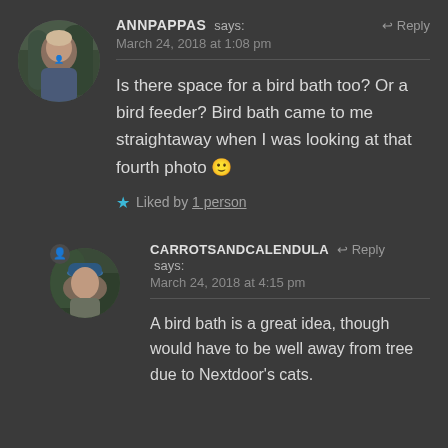[Figure (photo): Round avatar photo of a person (AnnPappas), outdoor background with trees]
ANNPAPPAS says:
Reply
March 24, 2018 at 1:08 pm
Is there space for a bird bath too? Or a bird feeder? Bird bath came to me straightaway when I was looking at that fourth photo 🙂
★ Liked by 1 person
[Figure (photo): Round avatar photo of a person wearing a blue hat (CarrotsAndCalendula), with a badge icon overlay]
CARROTSANDCALENDULA says:
Reply
March 24, 2018 at 4:15 pm
A bird bath is a great idea, though would have to be well away from tree due to Nextdoor's cats.